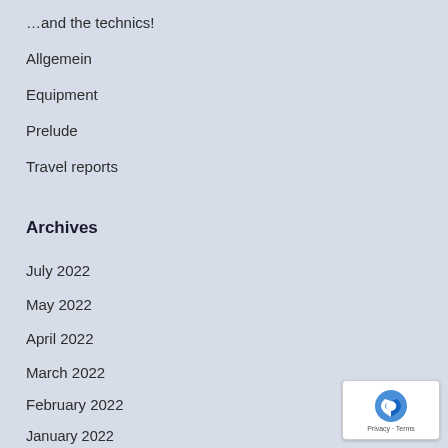…and the technics!
Allgemein
Equipment
Prelude
Travel reports
Archives
July 2022
May 2022
April 2022
March 2022
February 2022
January 2022
December 2021
November 2021